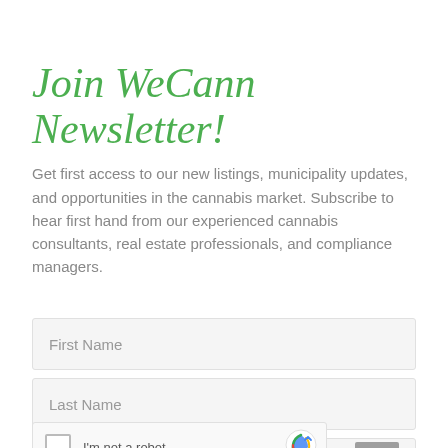Join WeCann Newsletter!
Get first access to our new listings, municipality updates, and opportunities in the cannabis market. Subscribe to hear first hand from our experienced cannabis consultants, real estate professionals, and compliance managers.
First Name
Last Name
Email
[Figure (other): reCAPTCHA widget with checkbox, 'I'm not a robot' text, and Google reCAPTCHA logo]